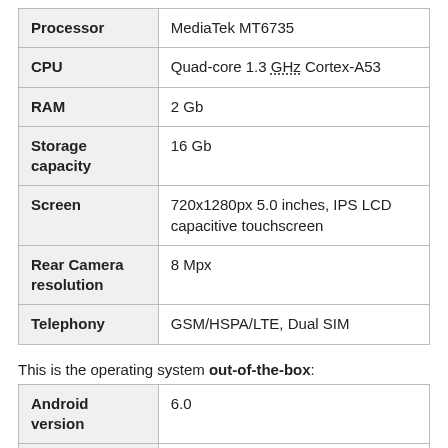|  |  |
| --- | --- |
| Processor | MediaTek MT6735 |
| CPU | Quad-core 1.3 GHz Cortex-A53 |
| RAM | 2 Gb |
| Storage capacity | 16 Gb |
| Screen | 720x1280px 5.0 inches, IPS LCD capacitive touchscreen |
| Rear Camera resolution | 8 Mpx |
| Telephony | GSM/HSPA/LTE, Dual SIM |
This is the operating system out-of-the-box:
|  |  |
| --- | --- |
| Android version | 6.0 |
| Android | August 5, 2016 |